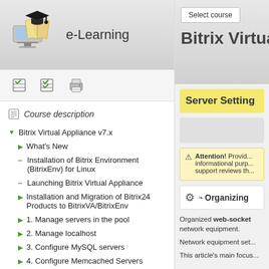[Figure (logo): e-Learning logo with graduation cap and books on computer monitor]
e-Learning
[Figure (screenshot): Toolbar with three icons: checkmark, checklist, and printer]
Course description
Bitrix Virtual Appliance v7.x
What's New
Installation of Bitrix Environment (BitrixEnv) for Linux
Launching Bitrix Virtual Appliance
Installation and Migration of Bitrix24 Products to BitrixVA/BitrixEnv
1. Manage servers in the pool
2. Manage localhost
3. Configure MySQL servers
4. Configure Memcached Servers
Select course
Bitrix Virtual
Server Settings
Attention! Provided informational purp... support reviews th...
Organizing
Organized web-socket network equipment.
Network equipment set...
This article's main focus...